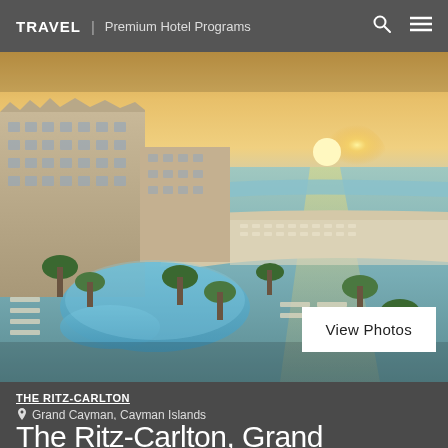TRAVEL | Premium Hotel Programs
[Figure (photo): Aerial view of The Ritz-Carlton Grand Cayman resort at sunset, showing luxury hotel building, large pool area surrounded by palm trees and lounge chairs, white sandy beach, turquoise ocean water, and golden sunset sky.]
View Photos
THE RITZ-CARLTON
Grand Cayman, Cayman Islands
The Ritz-Carlton, Grand